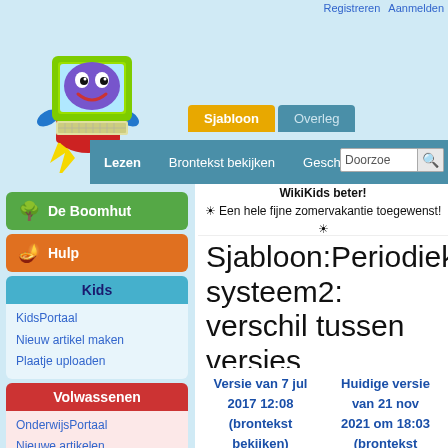Registreren   Aanmelden
[Figure (illustration): WikiKids logo: cartoon computer character with arms and legs on light blue background]
Sjabloon   Overleg   Lezen   Brontekst bekijken   Geschiedenis
☀ Een hele fijne zomervakantie toegewenst! ☀  WikiKids beter!
Sjabloon:Periodiek systeem2: verschil tussen versies
Versie van 7 jul 2017 12:08 (brontekst bekijken)     Huidige versie van 21 nov 2021 om 18:03 (brontekst bekijken)
De Boomhut
Hulp
Kids
KidsPortaal
Nieuw artikel maken
Plaatje uploaden
Volwassenen
OnderwijsPortaal
Nieuwe artikelen
Recente Wijzigingen
Danoiniesta
bekijken)